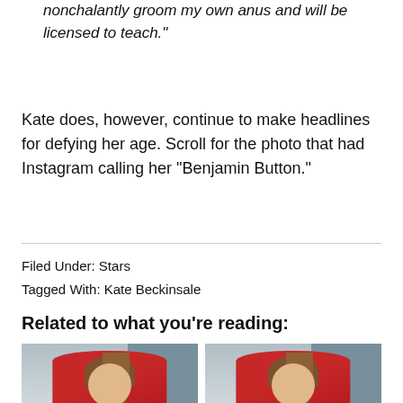nonchalantly groom my own anus and will be licensed to teach.”
Kate does, however, continue to make headlines for defying her age. Scroll for the photo that had Instagram calling her “Benjamin Button.”
Filed Under: Stars
Tagged With: Kate Beckinsale
Related to what you’re reading:
[Figure (photo): Two side-by-side photos of a woman (Kate Beckinsale) in a red dress against a gray-blue background]